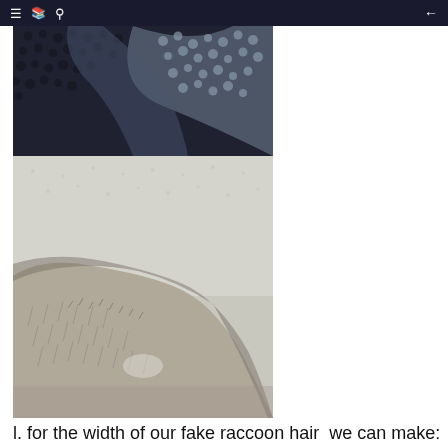Navigation bar with menu, book, search icons and back arrow
[Figure (photo): Two close-up photographs of fabric/fur textures stacked vertically. Top image shows a dark blue-grey sherpa/fleece fabric with tight curly texture. Bottom image shows a light grey/beige faux fur fabric folded to reveal the inner pile.]
l. for the width of our fake raccoon hair  we can make: